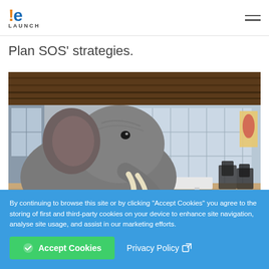IE LAUNCH
Plan SOS' strategies.
[Figure (photo): An elephant standing inside a modern open-plan office with wooden ceiling, large windows and office chairs.]
By continuing to browse this site or by clicking "Accept Cookies" you agree to the storing of first and third-party cookies on your device to enhance site navigation, analyse site usage, and assist in our marketing efforts.
Accept Cookies   Privacy Policy